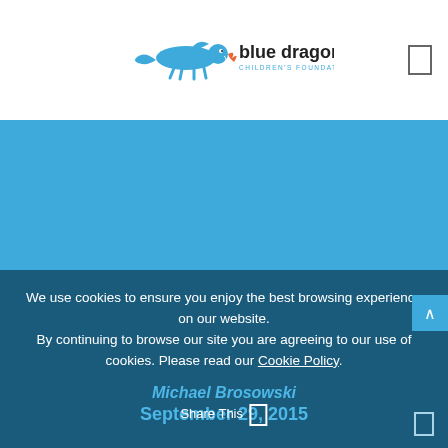[Figure (logo): Blue Dragon Children's Foundation logo with cartoon dragon and text]
[Figure (photo): Blue hero banner area with sky blue background]
We use cookies to ensure you enjoy the best browsing experience on our website. By continuing to browse our site you are agreeing to our use of cookies. Please read our Cookie Policy.
I accept
Michael Brosowski
September 29, 2015